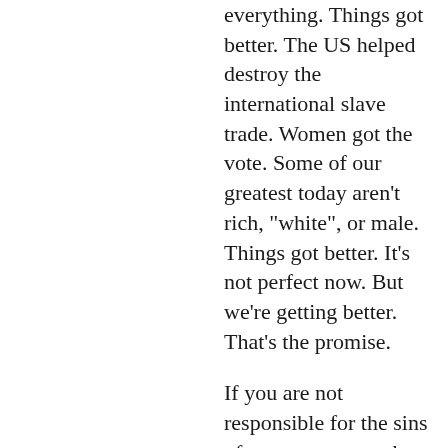everything. Things got better. The US helped destroy the international slave trade. Women got the vote. Some of our greatest today aren't rich, "white", or male. Things got better. It's not perfect now. But we're getting better. That's the promise.
If you are not responsible for the sins of your ancestors, then neither is anyone else. Neither am I.
If you take pride in